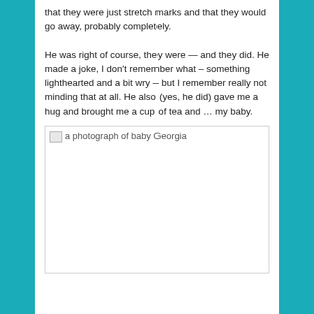that they were just stretch marks and that they would go away, probably completely.
He was right of course, they were — and they did. He made a joke, I don't remember what – something lighthearted and a bit wry – but I remember really not minding that at all. He also (yes, he did) gave me a hug and brought me a cup of tea and … my baby.
[Figure (photo): A photograph of baby Georgia, shown as a broken image placeholder with alt text 'a photograph of baby Georgia']